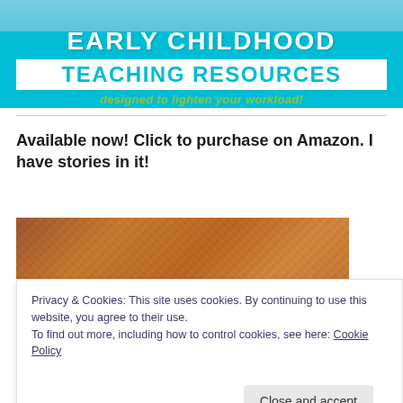[Figure (illustration): Early Childhood Teaching Resources banner with blue background, white bold text 'EARLY CHILDHOOD', white box with cyan text 'TEACHING RESOURCES', and green italic tagline 'designed to lighten your workload!']
Available now! Click to purchase on Amazon. I have stories in it!
[Figure (photo): Brown leather-textured book cover image]
Privacy & Cookies: This site uses cookies. By continuing to use this website, you agree to their use.
To find out more, including how to control cookies, see here: Cookie Policy
Close and accept
[Figure (photo): Bottom strip of book cover with decorative golden text]